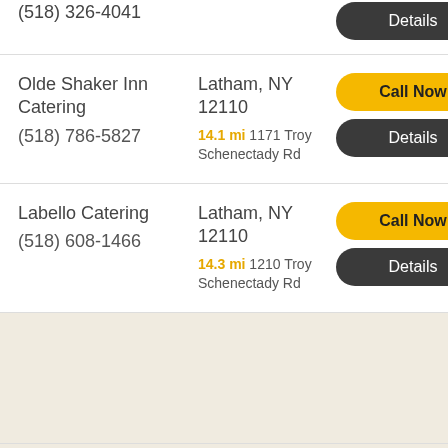(518) 326-4041 — partial top listing
Olde Shaker Inn Catering, (518) 786-5827, Latham, NY 12110, 14.1 mi 1171 Troy Schenectady Rd, Call Now, Details
Labello Catering, (518) 608-1466, Latham, NY 12110, 14.3 mi 1210 Troy Schenectady Rd, Call Now, Details
Sign Up   Contacts   Privacy   Return   Terms